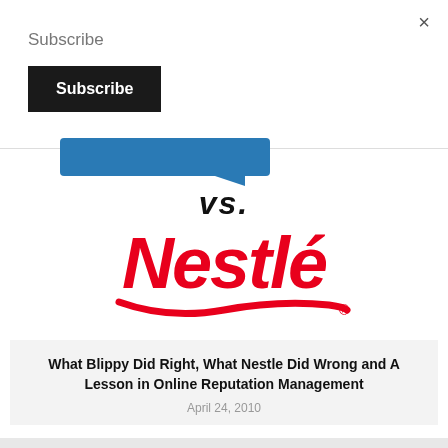×
Subscribe
Subscribe
[Figure (illustration): Blue speech bubble / chat icon pointing right, partially visible above a horizontal divider line]
vs.
[Figure (logo): Nestlé logo in red with swoosh underline and registered trademark symbol]
What Blippy Did Right, What Nestle Did Wrong and A Lesson in Online Reputation Management
April 24, 2010